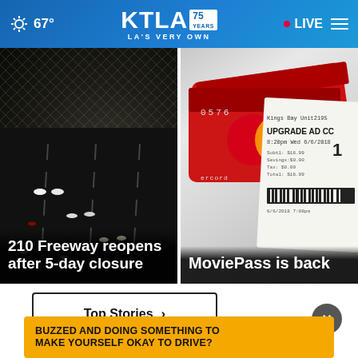67° KTLA 75 YEARS — LA'S VERY OWN  • LIVE
[Figure (photo): Night freeway traffic with headlights, seen through chain-link fence. Caption: '210 Freeway reopens after 5-day closure']
[Figure (photo): Red credit cards and a movie ticket receipt showing 'UPGRADE AD CC 8:20pm Wed 6/6/2018'. Caption: 'MoviePass is back']
Top Stories ›
[Figure (other): Close (×) button]
BUZZED AND DOING SOMETHING TO MAKE YOURSELF OKAY TO DRIVE?